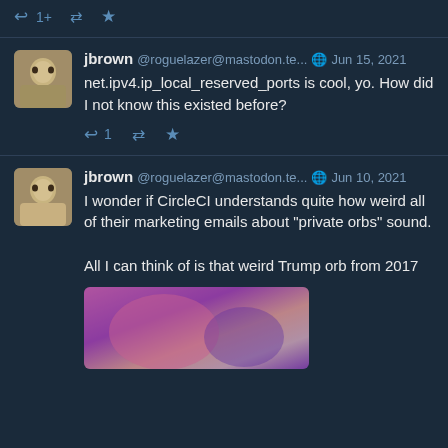1+ retweet star (action bar, top)
jbrown @roguelazer@mastodon.te... Jun 15, 2021
net.ipv4.ip_local_reserved_ports is cool, yo. How did I not know this existed before?
1 retweet star (action bar, post 1)
jbrown @roguelazer@mastodon.te... Jun 10, 2021
I wonder if CircleCI understands quite how weird all of their marketing emails about "private orbs" sound.

All I can think of is that weird Trump orb from 2017
[Figure (photo): Partial view of an attached image with purple/pink gradient colors, bottom of page]